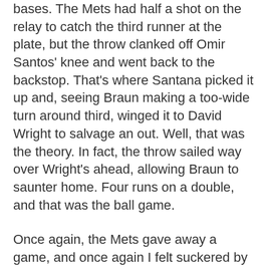bases. The Mets had half a shot on the relay to catch the third runner at the plate, but the throw clanked off Omir Santos' knee and went back to the backstop. That's where Santana picked it up and, seeing Braun making a too-wide turn around third, winged it to David Wright to salvage an out. Well, that was the theory. In fact, the throw sailed way over Wright's ahead, allowing Braun to saunter home. Four runs on a double, and that was the ball game.
Once again, the Mets gave away a game, and once again I felt suckered by even caring enough to watch. Reportedly, manager Jerry Manuel lectured the team for 25 minutes after the game. I'm not sure what he could have said to them besides "good luck" and "isn't it about time you guys got your heads out of your asses?"
Realistically, what can be done about the Mess? Omar Minaya isn't exactly dealing from strength if he tries to make a trade. About all he can do is make sure all the contract-insurance policies are paid up. The only consistently productive spot in the lineup has been at catcher, where their corps leads all major league catchers in RBI. Their best hitter, Wright, is terrific with the bases empty, but his